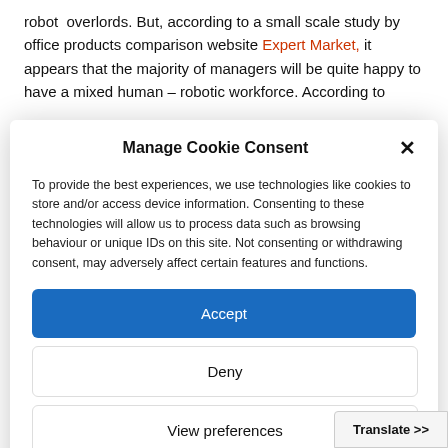robot overlords. But, according to a small scale study by office products comparison website Expert Market, it appears that the majority of managers will be quite happy to have a mixed human – robotic workforce. According to
Manage Cookie Consent
To provide the best experiences, we use technologies like cookies to store and/or access device information. Consenting to these technologies will allow us to process data such as browsing behaviour or unique IDs on this site. Not consenting or withdrawing consent, may adversely affect certain features and functions.
Accept
Deny
View preferences
Cookie Policy   Privacy Policy
Translate >>